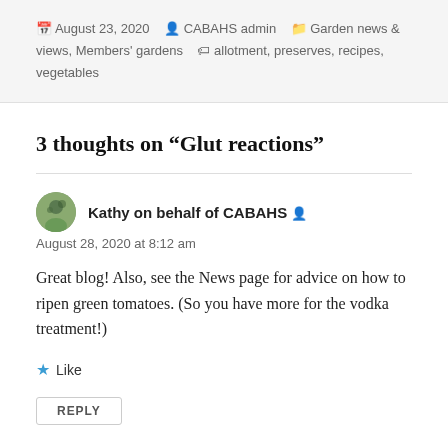August 23, 2020  CABAHS admin  Garden news & views, Members' gardens  allotment, preserves, recipes, vegetables
3 thoughts on “Glut reactions”
Kathy on behalf of CABAHS
August 28, 2020 at 8:12 am
Great blog! Also, see the News page for advice on how to ripen green tomatoes. (So you have more for the vodka treatment!)
Like
REPLY